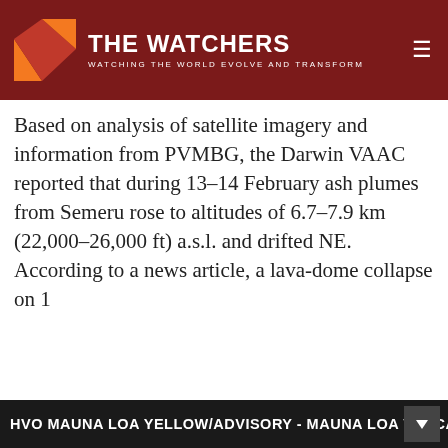THE WATCHERS — WATCHING THE WORLD EVOLVE AND TRANSFORM
Based on analysis of satellite imagery and information from PVMBG, the Darwin VAAC reported that during 13–14 February ash plumes from Semeru rose to altitudes of 6.7–7.9 km (22,000–26,000 ft) a.s.l. and drifted NE. According to a news article, a lava-dome collapse on 1[...] flows that tra[...] flanks; the ne[...] km away.
We use cookies on our website to give you the most relevant experience by remembering your preferences and repeat visits. By clicking "Accept", you consent to the use of ALL the cookies.
Do not sell my personal information.
Geologic su[...]
volcano on Ja[...]
HVO MAUNA LOA YELLOW/ADVISORY - MAUNA LOA VOLCA